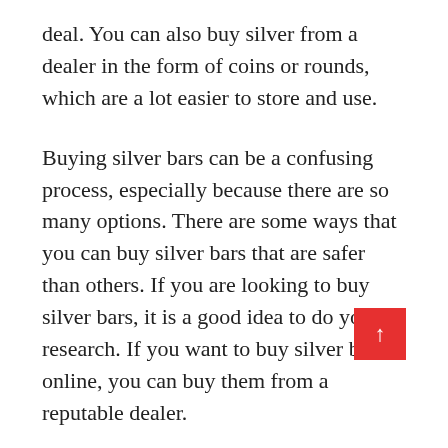deal. You can also buy silver from a dealer in the form of coins or rounds, which are a lot easier to store and use.
Buying silver bars can be a confusing process, especially because there are so many options. There are some ways that you can buy silver bars that are safer than others. If you are looking to buy silver bars, it is a good idea to do your research. If you want to buy silver bars online, you can buy them from a reputable dealer.
If you want to buy silver bars in person, make sure that the person selling them is